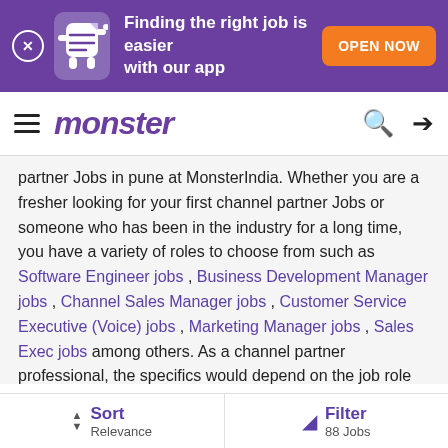[Figure (screenshot): Monster India app promotional banner with purple background, mascot character, text 'Finding the right job is easier with our app', and orange 'OPEN NOW' button]
monster
partner Jobs in pune at MonsterIndia. Whether you are a fresher looking for your first channel partner Jobs or someone who has been in the industry for a long time, you have a variety of roles to choose from such as Software Engineer jobs , Business Development Manager jobs , Channel Sales Manager jobs , Customer Service Executive (Voice) jobs , Marketing Manager jobs , Sales Exec jobs among others. As a channel partner professional, the specifics would depend on the job role and the position you apply for. Since channel partner is so popular, it is no surprise that channel partner jobs are offered across industries by the top companies. Some of these include Bajaj Finance Limited , Axs Solutions And Consulting Private Limited , Tata AIA Life , Deutsche
Sort Relevance | Filter 88 Jobs